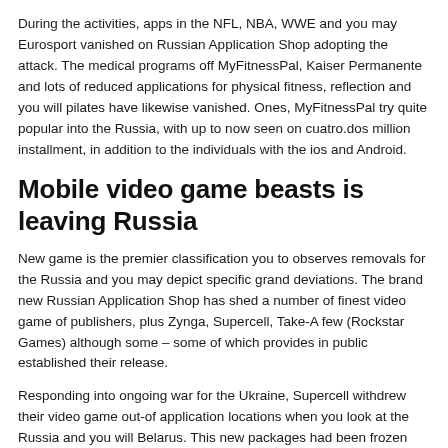During the activities, apps in the NFL, NBA, WWE and you may Eurosport vanished on Russian Application Shop adopting the attack. The medical programs off MyFitnessPal, Kaiser Permanente and lots of reduced applications for physical fitness, reflection and you will pilates have likewise vanished. Ones, MyFitnessPal try quite popular into the Russia, with up to now seen on cuatro.dos million installment, in addition to the individuals with the ios and Android.
Mobile video game beasts is leaving Russia
New game is the premier classification you to observes removals for the Russia and you may depict specific grand deviations. The brand new Russian Application Shop has shed a number of finest video game of publishers, plus Zynga, Supercell, Take-A few (Rockstar Games) although some – some of which provides in public established their release.
Responding into ongoing war for the Ukraine, Supercell withdrew their video game out-of application locations when you look at the Russia and you will Belarus. This new packages had been frozen